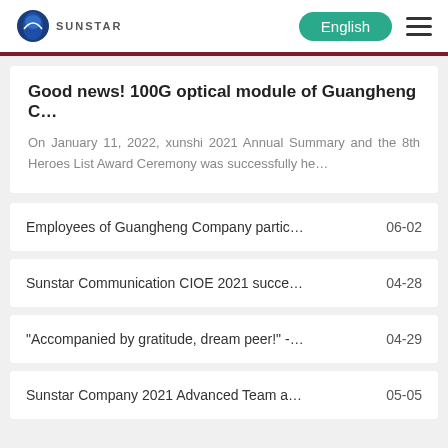SUNSTAR | English
Good news! 100G optical module of Guangheng C…
On January 11, 2022, xunshi 2021 Annual Summary and the 8th Heroes List Award Ceremony was successfully he…
Employees of Guangheng Company partic… 06-02
Sunstar Communication CIOE 2021 succe… 04-28
"Accompanied by gratitude, dream peer!" -… 04-29
Sunstar Company 2021 Advanced Team a… 05-05